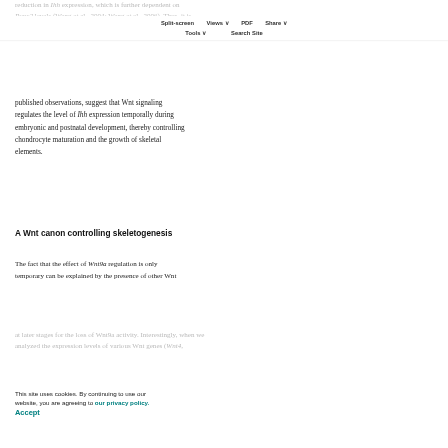reduction in Ihh expression, which is further dependent on Runx2 levels (Wang et al., 2004; Wang et al., 2006). Thus, it is conceivable that the β-catenin/Lef1 complex and Runx2 could cooperatively regulate Ihh. Our data, together with
Split-screen  Views  PDF  Share  Tools  Search Site
published observations, suggest that Wnt signaling regulates the level of Ihh expression temporally during embryonic and postnatal development, thereby controlling chondrocyte maturation and the growth of skeletal elements.
A Wnt canon controlling skeletogenesis
The fact that the effect of Wnt9a regulation is only temporary can be explained by the presence of other Wnt
This site uses cookies. By continuing to use our website, you are agreeing to our privacy policy.
Accept
at later stages for the loss of Wnt9a activity. Interestingly, when we analyzed the expression levels of various Wnt genes (Wnt4,